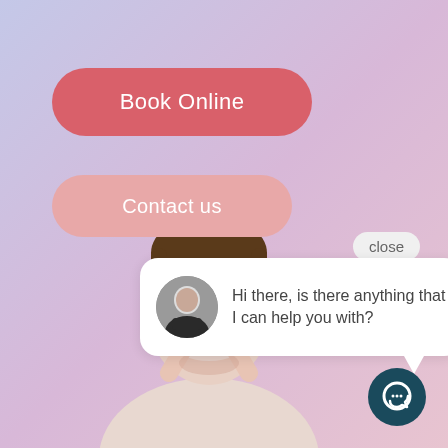[Figure (screenshot): Background gradient from blue-purple to pink, with a smiling man pointing at his teeth]
Book Online
Contact us
close
Hi there, is there anything that I can help you with?
[Figure (illustration): Dark teal circle with a chat/speech bubble icon inside]